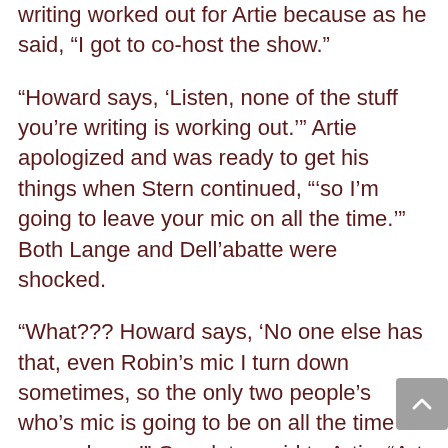writing worked out for Artie because as he said, “I got to co-host the show.”
“Howard says, ‘Listen, none of the stuff you’re writing is working out.’” Artie apologized and was ready to get his things when Stern continued, “‘so I’m going to leave your mic on all the time.’” Both Lange and Dell’abatte were shocked.
“What??? Howard says, ‘No one else has that, even Robin’s mic I turn down sometimes, so the only two people’s who’s mic is going to be on all the time is me and you.’” Gary later said to Artie, “Art, you should be flattered because this show is everything to him and he’s putting it in your hands.”